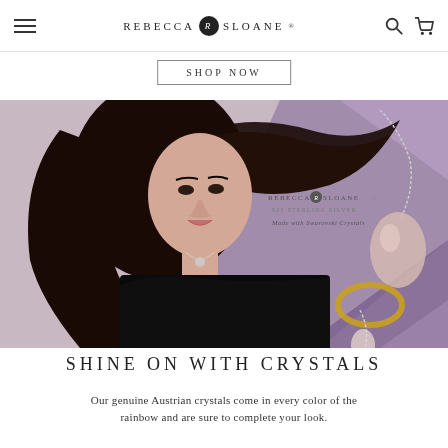REBECCA SLOANE®
SHOP NOW
[Figure (photo): Fashion model with long dark hair wearing a black strapless dress, showcasing Rebecca Sloane sterling silver jewelry with Swarovski crystals. Purple geometric background with crystal pendants displayed.]
SHINE ON WITH CRYSTALS
Our genuine Austrian crystals come in every color of the rainbow and are sure to complete your look.